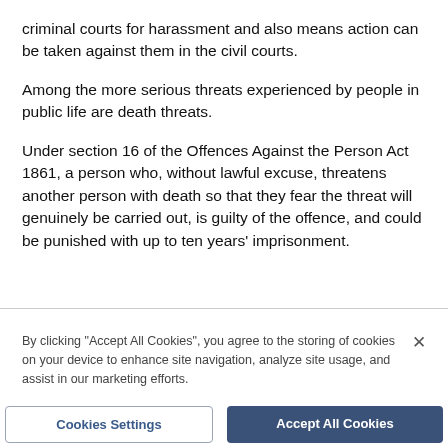criminal courts for harassment and also means action can be taken against them in the civil courts.
Among the more serious threats experienced by people in public life are death threats.
Under section 16 of the Offences Against the Person Act 1861, a person who, without lawful excuse, threatens another person with death so that they fear the threat will genuinely be carried out, is guilty of the offence, and could be punished with up to ten years' imprisonment.
By clicking "Accept All Cookies", you agree to the storing of cookies on your device to enhance site navigation, analyze site usage, and assist in our marketing efforts.